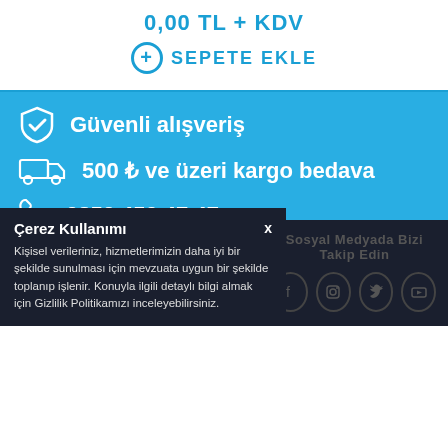0,00 TL + KDV
+ SEPETE EKLE
Güvenli alışveriş
500 ₺ ve üzeri kargo bedava
0850 450 47 47
E-Posta adresinizi girerek bültene katılabilirsiniz!
Gönder
Çerez Kullanımı
Kişisel verileriniz, hizmetlerimizin daha iyi bir şekilde sunulması için mevzuata uygun bir şekilde toplanıp işlenir. Konuyla ilgili detaylı bilgi almak için Gizlilik Politikamızı inceleyebilirsiniz.
Sosyal Medyada Bizi Takip Edin